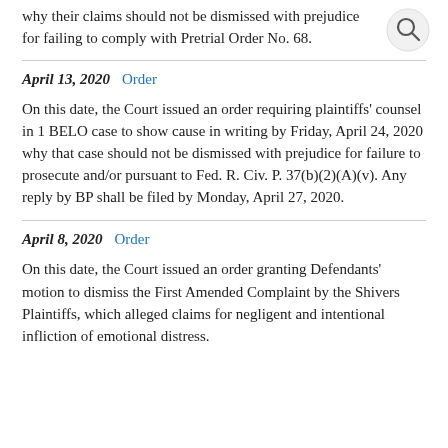why their claims should not be dismissed with prejudice for failing to comply with Pretrial Order No. 68.
April 13, 2020  Order

On this date, the Court issued an order requiring plaintiffs' counsel in 1 BELO case to show cause in writing by Friday, April 24, 2020 why that case should not be dismissed with prejudice for failure to prosecute and/or pursuant to Fed. R. Civ. P. 37(b)(2)(A)(v). Any reply by BP shall be filed by Monday, April 27, 2020.
April 8, 2020  Order

On this date, the Court issued an order granting Defendants' motion to dismiss the First Amended Complaint by the Shivers Plaintiffs, which alleged claims for negligent and intentional infliction of emotional distress.